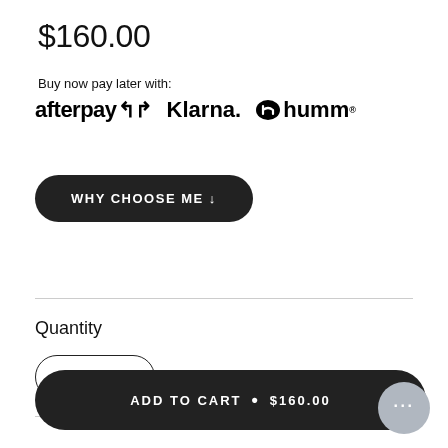$160.00
Buy now pay later with:
[Figure (logo): Payment logos: afterpay, Klarna., humm]
WHY CHOOSE ME ↓
Quantity
- 1 +
ADD TO CART • $160.00